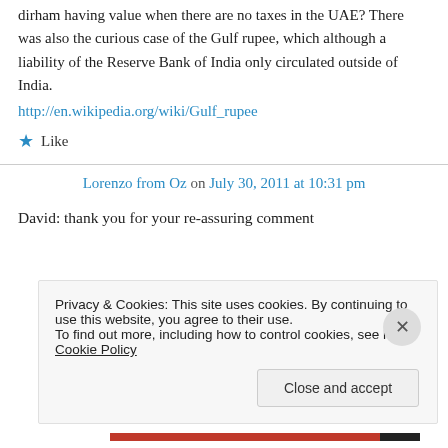dirham having value when there are no taxes in the UAE? There was also the curious case of the Gulf rupee, which although a liability of the Reserve Bank of India only circulated outside of India.
http://en.wikipedia.org/wiki/Gulf_rupee
Like
Lorenzo from Oz on July 30, 2011 at 10:31 pm
David: thank you for your re-assuring comment
Privacy & Cookies: This site uses cookies. By continuing to use this website, you agree to their use. To find out more, including how to control cookies, see here: Cookie Policy
Close and accept